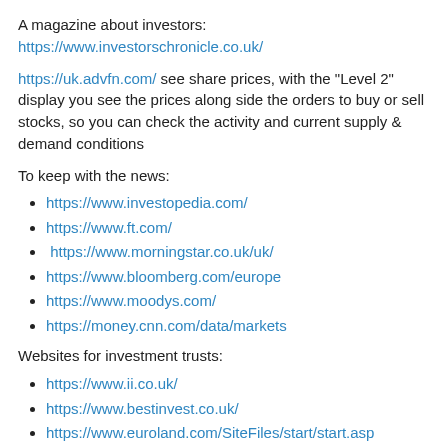A magazine about investors: https://www.investorschronicle.co.uk/
https://uk.advfn.com/ see share prices, with the "Level 2" display you see the prices along side the orders to buy or sell stocks, so you can check the activity and current supply & demand conditions
To keep with the news:
https://www.investopedia.com/
https://www.ft.com/
https://www.morningstar.co.uk/uk/
https://www.bloomberg.com/europe
https://www.moodys.com/
https://money.cnn.com/data/markets
Websites for investment trusts:
https://www.ii.co.uk/
https://www.bestinvest.co.uk/
https://www.euroland.com/SiteFiles/start/start.asp
https://www.3i.com/private-equity/approach/
Fixed Rate Bonds:
https://www.ybs.co.uk/savings/fixed-rate-